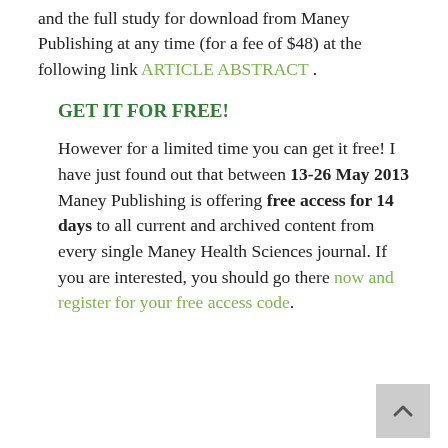and the full study for download from Maney Publishing at any time (for a fee of $48) at the following link ARTICLE ABSTRACT .
GET IT FOR FREE!
However for a limited time you can get it free! I have just found out that between 13-26 May 2013 Maney Publishing is offering free access for 14 days to all current and archived content from every single Maney Health Sciences journal. If you are interested, you should go there now and register for your free access code.